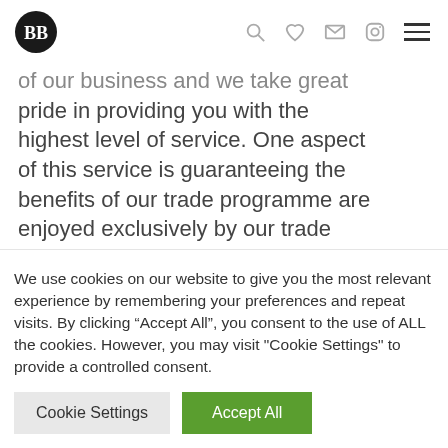BB logo with navigation icons: search, heart/wishlist, mail, instagram, menu
of our business and we take great pride in providing you with the highest level of service. One aspect of this service is guaranteeing the benefits of our trade programme are enjoyed exclusively by our trade partners. In order to support you
We use cookies on our website to give you the most relevant experience by remembering your preferences and repeat visits. By clicking “Accept All”, you consent to the use of ALL the cookies. However, you may visit "Cookie Settings" to provide a controlled consent.